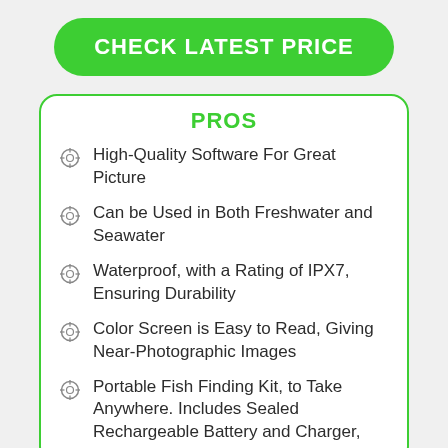CHECK LATEST PRICE
PROS
High-Quality Software For Great Picture
Can be Used in Both Freshwater and Seawater
Waterproof, with a Rating of IPX7, Ensuring Durability
Color Screen is Easy to Read, Giving Near-Photographic Images
Portable Fish Finding Kit, to Take Anywhere. Includes Sealed Rechargeable Battery and Charger,